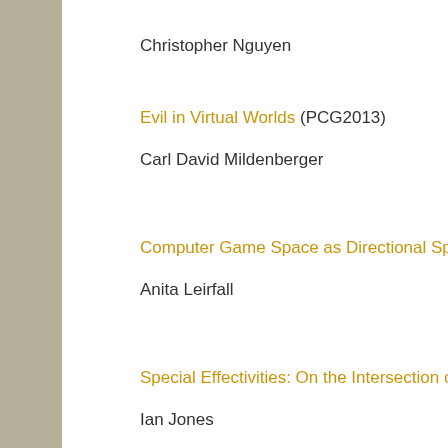Christopher Nguyen
Evil in Virtual Worlds (PCG2013)
Carl David Mildenberger
Computer Game Space as Directional Space (PCG2013)
Anita Leirfall
Special Effectivities: On the Intersection of Spatial Knowledge and Bodily Skill (PCG2013)
Ian Jones